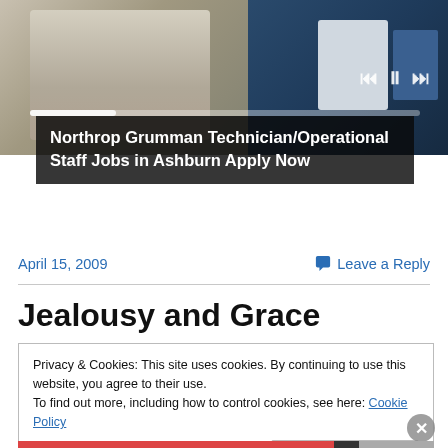[Figure (photo): Banner image showing a person in a white lab coat working at equipment, with media player controls and a progress bar overlay. A dark advertisement caption box is overlaid at the bottom of the image.]
Northrop Grumman Technician/Operational Staff Jobs in Ashburn Apply Now
April 15, 2009
Leave a Reply
Jealousy and Grace
Privacy & Cookies: This site uses cookies. By continuing to use this website, you agree to their use.
To find out more, including how to control cookies, see here: Cookie Policy
Close and accept